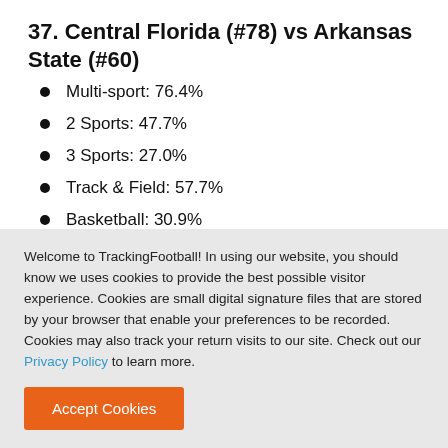37. Central Florida (#78) vs Arkansas State (#60)
Multi-sport: 76.4%
2 Sports: 47.7%
3 Sports: 27.0%
Track & Field: 57.7%
Basketball: 30.9%
Welcome to TrackingFootball! In using our website, you should know we uses cookies to provide the best possible visitor experience. Cookies are small digital signature files that are stored by your browser that enable your preferences to be recorded. Cookies may also track your return visits to our site. Check out our Privacy Policy to learn more.
Accept Cookies